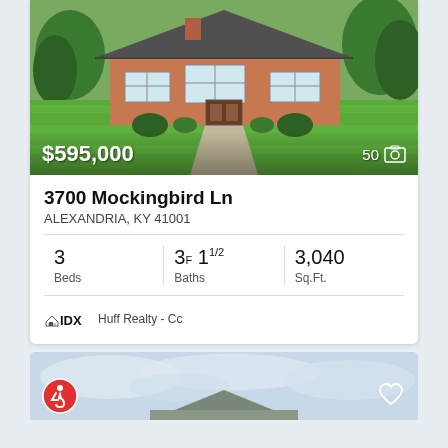[Figure (photo): Exterior photo of a single-story brick ranch house with green lawn, trees, and a concrete driveway. Price overlay shows $595,000 and photo count 50.]
3700 Mockingbird Ln
ALEXANDRIA, KY 41001
| Beds | Baths | Sq.Ft. |
| --- | --- | --- |
| 3 | 3F 1 1/2 | 3,040 |
Huff Realty - Cc
[Figure (photo): Partial view of a second property listing with sky and rooftop visible. Accessibility icon (wheelchair) at bottom left, heart/favorite icon at bottom right.]